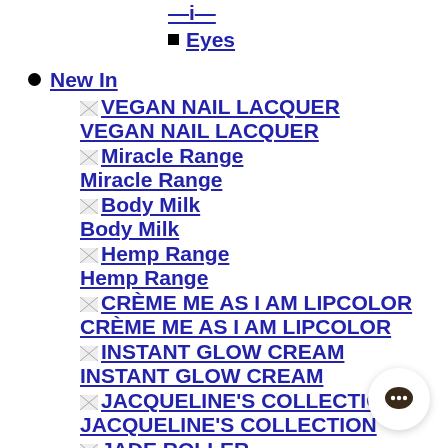—i—
Eyes
New In
VEGAN NAIL LACQUER
Miracle Range
Body Milk
Hemp Range
CRÈME ME AS I AM LIPCOLOR
INSTANT GLOW CREAM
JACQUELINE'S COLLECTION
JADE ROLLER
INTENSIFY LIQUID GEL EYELINER
SEXY KISS PROOF GEL LIPCOLOR
Pouches & Bags